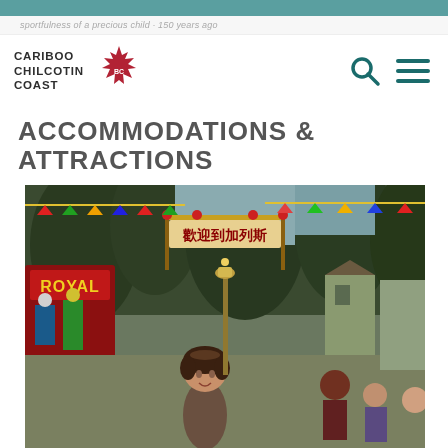Cariboo Chilcotin Coast
sportfulness of a precious child · 150 years ago
ACCOMMODATIONS & ATTRACTIONS
[Figure (photo): Outdoor festival street scene with Chinese banner reading '歡迎到加列斯', a woman walking in the foreground, 'ROYAL' sign on left, decorative lanterns and colorful flags, trees and buildings in background]